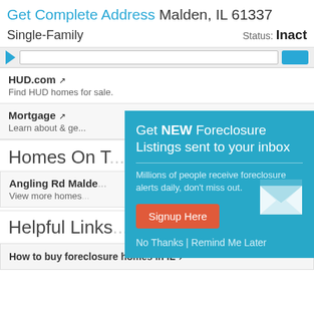Get Complete Address Malden, IL 61337
Single-Family      Status: Inact
[Figure (screenshot): Navigation bar with arrow, search box, and blue button]
HUD.com ↗
Find HUD homes for sale.
Mortgage ↗
Learn about & ge...
Homes On T...
Angling Rd Malde...
View more homes...
[Figure (screenshot): Popup overlay: Get NEW Foreclosure Listings sent to your inbox. Millions of people receive foreclosure alerts daily, don't miss out. Signup Here button. No Thanks | Remind Me Later links. Envelope icon graphic.]
Helpful Links
How to buy foreclosure homes in IL ↗